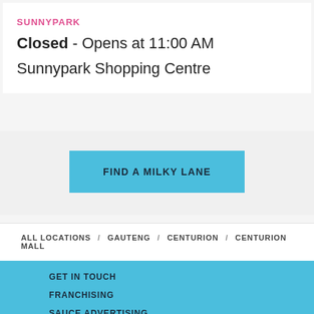SUNNYPARK
Closed - Opens at 11:00 AM
Sunnypark Shopping Centre
FIND A MILKY LANE
ALL LOCATIONS / GAUTENG / CENTURION / CENTURION MALL
GET IN TOUCH
FRANCHISING
SAUCE ADVERTISING